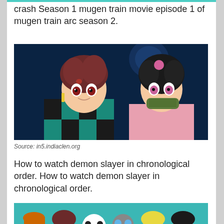crash Season 1 mugen train movie episode 1 of mugen train arc season 2.
[Figure (illustration): Anime illustration of two Demon Slayer characters: Tanjiro Kamado in green checkered haori holding a sword, and Nezuko Kamado in pink kimono with bamboo muzzle, against a dark blue background.]
Source: in5.indiaclen.org
How to watch demon slayer in chronological order. How to watch demon slayer in chronological order.
[Figure (illustration): Group anime illustration of Demon Slayer characters including Tanjiro, Zenitsu, Inosuke, Nezuko, and others in colorful outfits.]